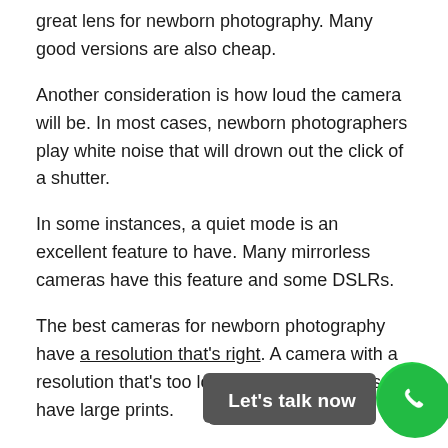great lens for newborn photography. Many good versions are also cheap.
Another consideration is how loud the camera will be. In most cases, newborn photographers play white noise that will drown out the click of a shutter.
In some instances, a quiet mode is an excellent feature to have. Many mirrorless cameras have this feature and some DSLRs.
The best cameras for newborn photography have a resolution that's right. A camera with a resolution that's too low won't allow parents to have large prints.
Your camera should have at least 12 megapixels, but 20 is even better. Many photographers use cameras around 50 megapixels. But higher megapixel